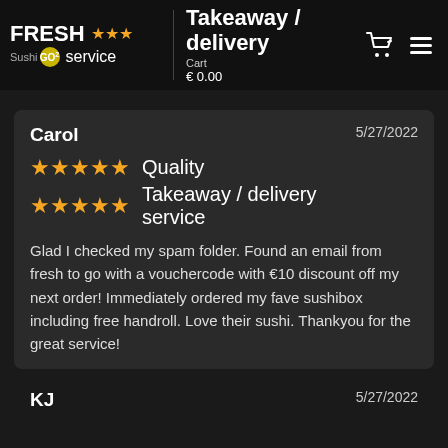FRESH Sushi GO2 service ★★★ Takeaway / delivery service  Cart € 0.00
Carol  5/27/2022  ★★★★★ Quality  ★★★★★ Takeaway / delivery service  Glad I checked my spam folder. Found an email from fresh to go with a vouchercode with €10 discount off my next order! Immediately ordered my fave sushibox including free handroll. Love their sushi. Thankyou for the great service!
KJ  5/27/2022